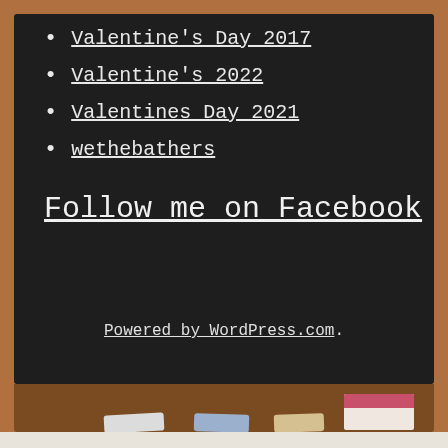Valentine's Day 2017
Valentine's 2022
Valentines Day 2021
wethebathers
Follow me on Facebook
Powered by WordPress.com.